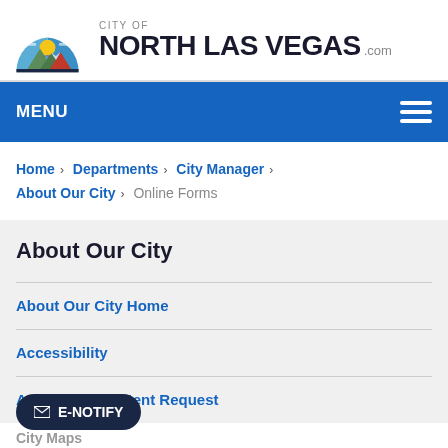[Figure (logo): City of North Las Vegas seal/logo — semicircular emblem with mountains, sun, and bird motifs in blue, yellow, and red]
CITY OF NORTH LAS VEGAS .com
MENU — hamburger navigation button
Home › Departments › City Manager › About Our City › Online Forms
About Our City
About Our City Home
Accessibility
Accessible Content Request
City Maps